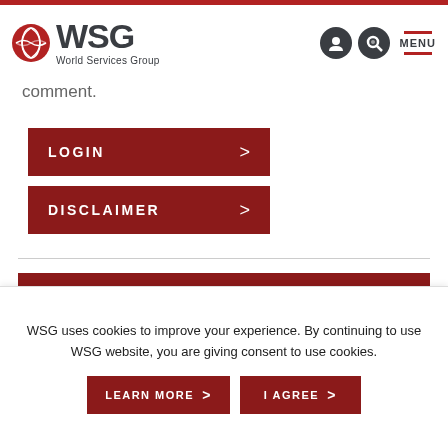WSG World Services Group
comment.
LOGIN
DISCLAIMER
RELATED ARTICLES IN
WSG uses cookies to improve your experience. By continuing to use WSG website, you are giving consent to use cookies.
LEARN MORE
I AGREE